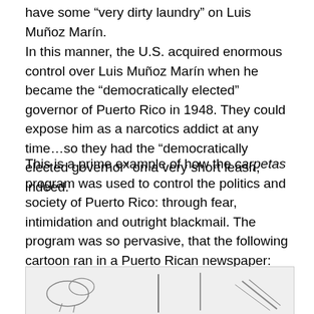have some “very dirty laundry” on Luis Muñoz Marín.
In this manner, the U.S. acquired enormous control over Luis Muñoz Marín when he became the “democratically elected” governor of Puerto Rico in 1948. They could expose him as a narcotics addict at any time…so they had the “democratically elected governor” on a very short leash, indeed.
This is a prime example of how the carpetas program was used to control the politics and society of Puerto Rico: through fear, intimidation and outright blackmail. The program was so pervasive, that the following cartoon ran in a Puerto Rican newspaper:
[Figure (illustration): Partial view of a cartoon or illustration from a Puerto Rican newspaper, showing sketched figures with lines suggesting a scene related to the carpetas surveillance program.]